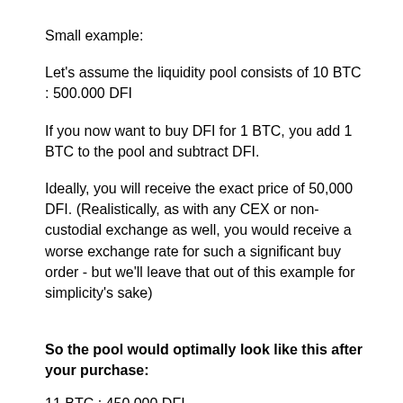Small example:
Let's assume the liquidity pool consists of 10 BTC : 500.000 DFI
If you now want to buy DFI for 1 BTC, you add 1 BTC to the pool and subtract DFI.
Ideally, you will receive the exact price of 50,000 DFI. (Realistically, as with any CEX or non-custodial exchange as well, you would receive a worse exchange rate for such a significant buy order - but we'll leave that out of this example for simplicity's sake)
So the pool would optimally look like this after your purchase:
11 BTC : 450.000 DFI